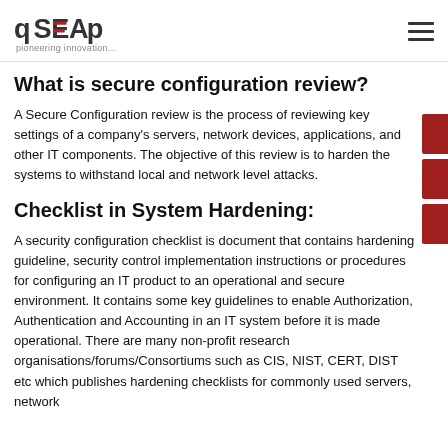qSEAp pioneering innovation...
What is secure configuration review?
A Secure Configuration review is the process of reviewing key settings of a company's servers, network devices, applications, and other IT components. The objective of this review is to harden the systems to withstand local and network level attacks.
Checklist in System Hardening:
A security configuration checklist is document that contains hardening guideline, security control implementation instructions or procedures for configuring an IT product to an operational and secure environment. It contains some key guidelines to enable Authorization, Authentication and Accounting in an IT system before it is made operational. There are many non-profit research organisations/forums/Consortiums such as CIS, NIST, CERT, DIST etc which publishes hardening checklists for commonly used servers, network